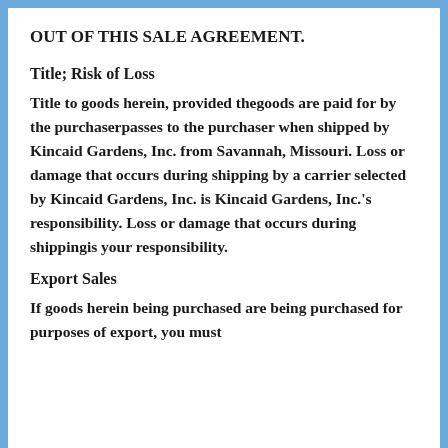OUT OF THIS SALE AGREEMENT.
Title; Risk of Loss
Title to goods herein, provided thegoods are paid for by the purchaserpasses to the purchaser when shipped by Kincaid Gardens, Inc. from Savannah, Missouri. Loss or damage that occurs during shipping by a carrier selected by Kincaid Gardens, Inc. is Kincaid Gardens, Inc.'s responsibility. Loss or damage that occurs during shippingis your responsibility.
Export Sales
If goods herein being purchased are being purchased for purposes of export, you must